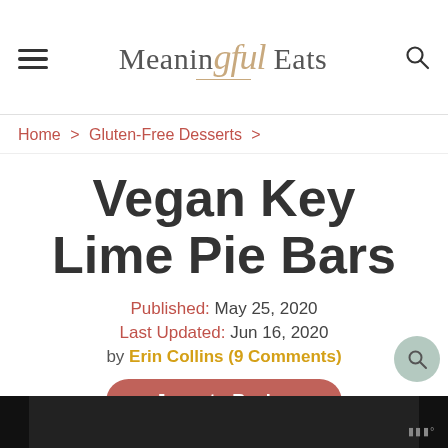Meaningful Eats
Home > Gluten-Free Desserts >
Vegan Key Lime Pie Bars
Published: May 25, 2020
Last Updated: Jun 16, 2020
by Erin Collins (9 Comments)
Jump to Recipe
[Figure (photo): Dark background image at bottom, partially visible]